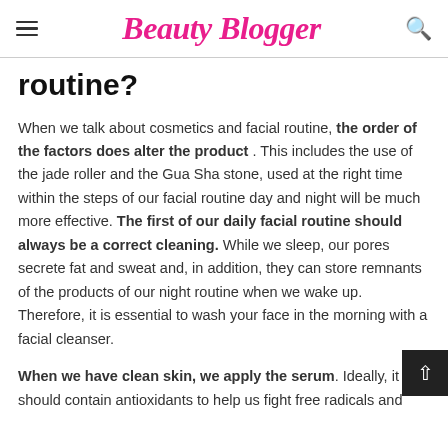Beauty Blogger
routine?
When we talk about cosmetics and facial routine, the order of the factors does alter the product . This includes the use of the jade roller and the Gua Sha stone, used at the right time within the steps of our facial routine day and night will be much more effective. The first of our daily facial routine should always be a correct cleaning. While we sleep, our pores secrete fat and sweat and, in addition, they can store remnants of the products of our night routine when we wake up. Therefore, it is essential to wash your face in the morning with a facial cleanser.
When we have clean skin, we apply the serum. Ideally, it should contain antioxidants to help us fight free radicals and